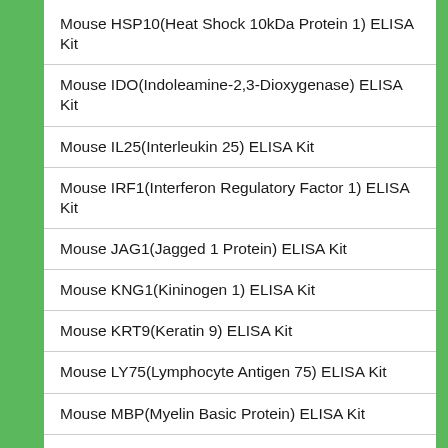Mouse HSP10(Heat Shock 10kDa Protein 1) ELISA Kit
Mouse IDO(Indoleamine-2,3-Dioxygenase) ELISA Kit
Mouse IL25(Interleukin 25) ELISA Kit
Mouse IRF1(Interferon Regulatory Factor 1) ELISA Kit
Mouse JAG1(Jagged 1 Protein) ELISA Kit
Mouse KNG1(Kininogen 1) ELISA Kit
Mouse KRT9(Keratin 9) ELISA Kit
Mouse LY75(Lymphocyte Antigen 75) ELISA Kit
Mouse MBP(Myelin Basic Protein) ELISA Kit
Mouse MEPE(Matrix Extracellular Phosphoglycoprotein) ELISA Kit